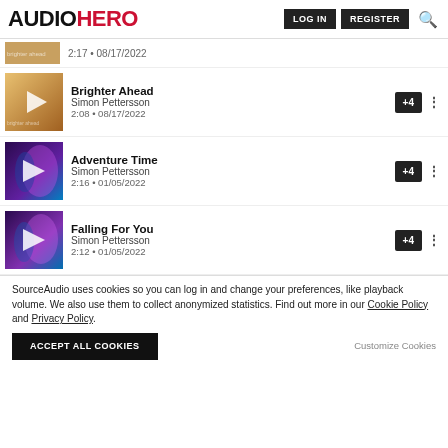AUDIOHERO | LOG IN | REGISTER
2:17 • 08/17/2022
Brighter Ahead — Simon Pettersson — 2:08 • 08/17/2022 — +4
Adventure Time — Simon Pettersson — 2:16 • 01/05/2022 — +4
Falling For You — Simon Pettersson — 2:12 • 01/05/2022 — +4
SourceAudio uses cookies so you can log in and change your preferences, like playback volume. We also use them to collect anonymized statistics. Find out more in our Cookie Policy and Privacy Policy.
ACCEPT ALL COOKIES | Customize Cookies